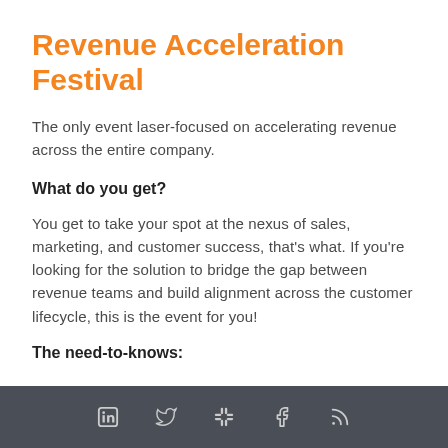Revenue Acceleration Festival
The only event laser-focused on accelerating revenue across the entire company.
What do you get?
You get to take your spot at the nexus of sales, marketing, and customer success, that's what. If you're looking for the solution to bridge the gap between revenue teams and build alignment across the customer lifecycle, this is the event for you!
The need-to-knows:
Social media icons: LinkedIn, Twitter, Slack, Facebook, RSS